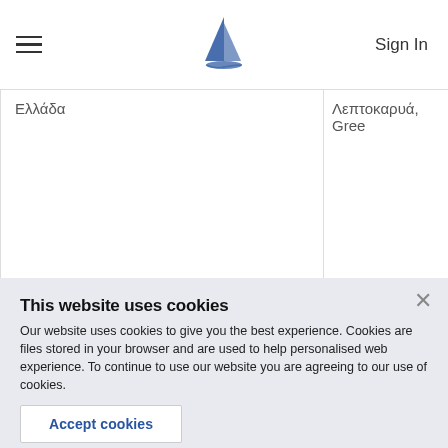Sign In
Ελλάδα
Λεπτοκαρυά, Gree
€ 1,500,000
€ 170,000
© Copyright 2017 Greece.ru
This website uses cookies
Our website uses cookies to give you the best experience. Cookies are files stored in your browser and are used to help personalised web experience. To continue to use our website you are agreeing to our use of cookies.
Accept cookies